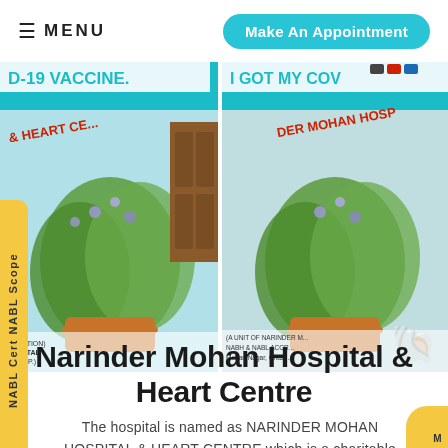≡ MENU | Make An Appointment
[Figure (photo): Two photos side by side showing hospital exterior with COVID-19 vaccine banners and potted plants. Left banner reads 'D-19 VACCINE' and '& HEART CE...'. Right banner reads 'I GOT MY COV...' and 'DER MOHAN HOSP'. Text on banners includes NABH & NABL ACCR, Mohan Nagar, Ghazi...]
Narinder Mohan Hospital & Heart Centre
The hospital is named as NARINDER MOHAN HOSPITAL & HEART CENTRE which is a charitable